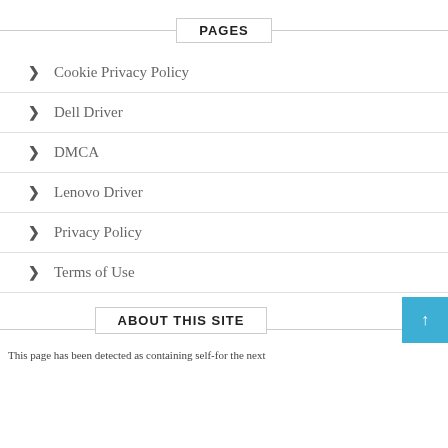PAGES
Cookie Privacy Policy
Dell Driver
DMCA
Lenovo Driver
Privacy Policy
Terms of Use
ABOUT THIS SITE
This page has been detected as containing self-for the next